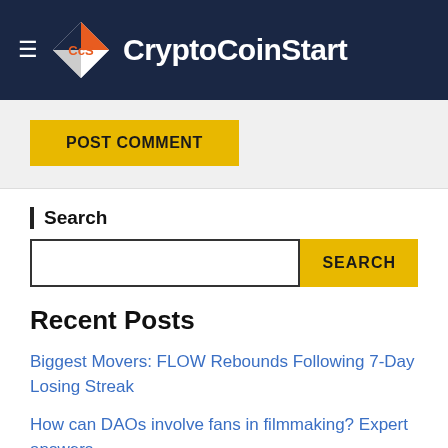[Figure (logo): CryptoCoinStart website header with logo (diamond shape with CCS) and site name on dark navy background]
POST COMMENT
Search
SEARCH
Recent Posts
Biggest Movers: FLOW Rebounds Following 7-Day Losing Streak
How can DAOs involve fans in filmmaking? Expert answers
XRP Stalls at $0.37, But Is Another Crash Incoming? (Ripple Price Analysis)